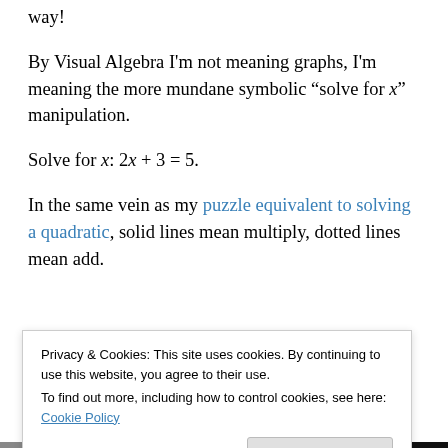way!
By Visual Algebra I'm not meaning graphs, I'm meaning the more mundane symbolic “solve for x” manipulation.
Solve for x: 2x + 3 = 5.
In the same vein as my puzzle equivalent to solving a quadratic, solid lines mean multiply, dotted lines mean add.
[Figure (illustration): Two partially visible circles with numbers 2 and 3 inside them, representing a visual algebra puzzle diagram.]
Privacy & Cookies: This site uses cookies. By continuing to use this website, you agree to their use.
To find out more, including how to control cookies, see here: Cookie Policy
Close and accept